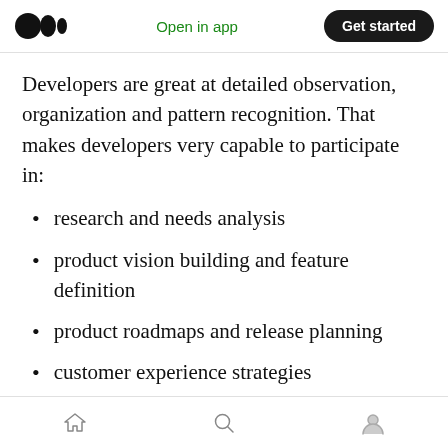Open in app | Get started
Developers are great at detailed observation, organization and pattern recognition. That makes developers very capable to participate in:
research and needs analysis
product vision building and feature definition
product roadmaps and release planning
customer experience strategies
business modeling
context scenarios and storyboarding
Home | Search | Profile